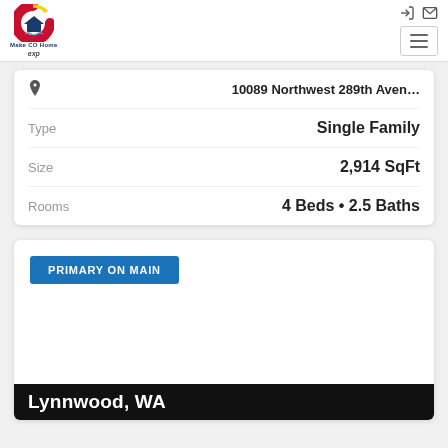[Figure (logo): Make CO Home eXp Realty logo with Colorado flag C and house icon]
| Field | Value |
| --- | --- |
| 📍 | 10089 Northwest 289th Aven… |
| Type | Single Family |
| Size | 2,914 SqFt |
| Rooms | 4 Beds • 2.5 Baths |
PRIMARY ON MAIN
Lynnwood, WA